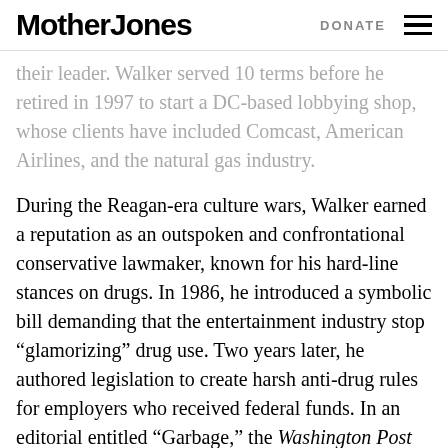Mother Jones  DONATE
their leader. Walker served 10 terms before he retired in 1997 to start a DC-based lobbying shop, whose clients have included Comcast, American Airlines, and the natural gas industry.
During the Reagan-era culture wars, Walker earned a reputation as an outspoken and confrontational conservative lawmaker, known for his hard-line stances on drugs. In 1986, he introduced a symbolic bill demanding that the entertainment industry stop “glamorizing” drug use. Two years later, he authored legislation to create harsh anti-drug rules for employers who received federal funds. In an editorial entitled “Garbage,” the Washington Post